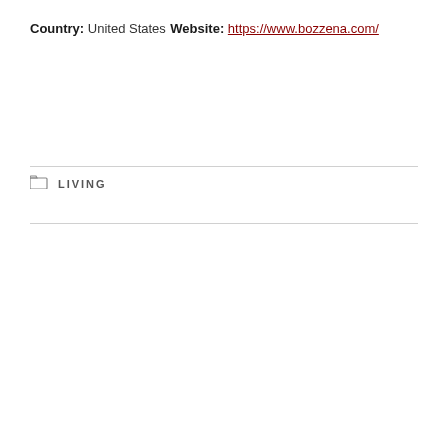Country: United States
Website: https://www.bozzena.com/
LIVING